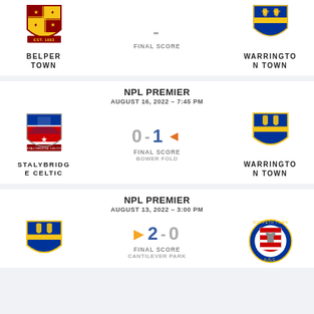[Figure (logo): Belper Town FC crest]
BELPER TOWN
- FINAL SCORE
[Figure (logo): Warrington Town FC crest]
WARRINGTON TOWN
NPL PREMIER
AUGUST 16, 2022 – 7:45 PM
[Figure (logo): Stalybridge Celtic FC crest]
STALYBRIDGE CELTIC
0 - 1 FINAL SCORE BOWER FOLD
[Figure (logo): Warrington Town FC crest]
WARRINGTON TOWN
NPL PREMIER
AUGUST 13, 2022 – 3:00 PM
[Figure (logo): Warrington Town FC crest]
2 - 0 FINAL SCORE CANTILEVER PARK
[Figure (logo): Morpeth Town AFC crest]